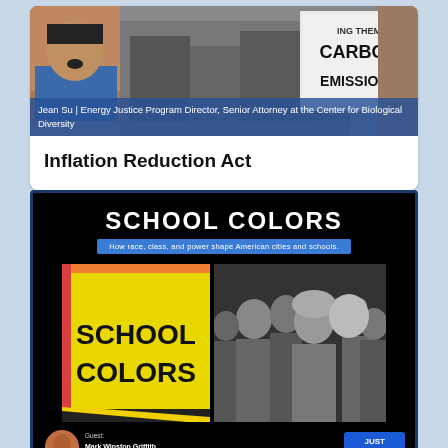[Figure (photo): Photo of a woman speaking on left, crowd at a protest holding sign reading CARBON EMISSIONS in the background]
Jean Su | Energy Justice Program Director, Senior Attorney at the Center for Biological Diversity
Inflation Reduction Act
[Figure (screenshot): School Colors podcast promotional image with black background, large white title SCHOOL COLORS, subtitle How race, class, and power shape American cities and schools, School Colors poster on left and black-and-white photo of children on right, guest Mark Winston Griffith, Just Solutions badge]
School Colors: how race, class, and p…